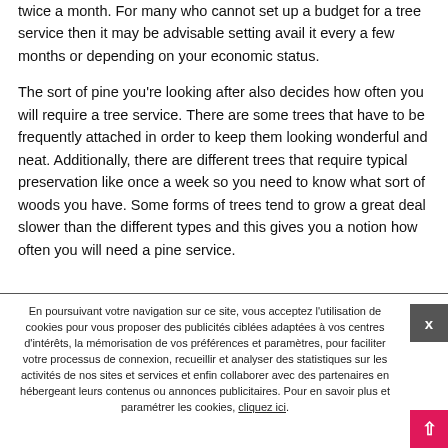twice a month. For many who cannot set up a budget for a tree service then it may be advisable setting avail it every a few months or depending on your economic status.
The sort of pine you're looking after also decides how often you will require a tree service. There are some trees that have to be frequently attached in order to keep them looking wonderful and neat. Additionally, there are different trees that require typical preservation like once a week so you need to know what sort of woods you have. Some forms of trees tend to grow a great deal slower than the different types and this gives you a notion how often you will need a pine service.
En poursuivant votre navigation sur ce site, vous acceptez l'utilisation de cookies pour vous proposer des publicités ciblées adaptées à vos centres d'intérêts, la mémorisation de vos préférences et paramètres, pour faciliter votre processus de connexion, recueillir et analyser des statistiques sur les activités de nos sites et services et enfin collaborer avec des partenaires en hébergeant leurs contenus ou annonces publicitaires. Pour en savoir plus et paramétrer les cookies, cliquez ici.